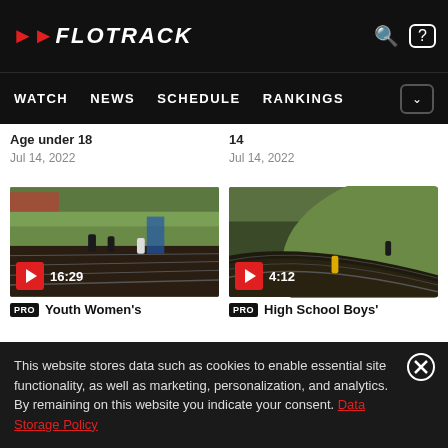FLOTRACK — WATCH NEWS SCHEDULE RANKINGS
Age under 18
Jul 14, 2022
14
Jul 14, 2022
[Figure (screenshot): Video thumbnail of women running on a track, duration 16:29]
[Figure (screenshot): Video thumbnail of runners on a curved track, duration 4:12]
PRO Youth Women's
PRO High School Boys'
This website stores data such as cookies to enable essential site functionality, as well as marketing, personalization, and analytics. By remaining on this website you indicate your consent. Data Storage Policy